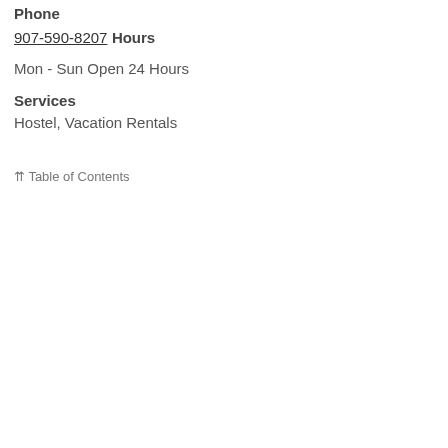Phone
907-590-8207
Hours
Mon - Sun Open 24 Hours
Services
Hostel, Vacation Rentals
⇈ Table of Contents